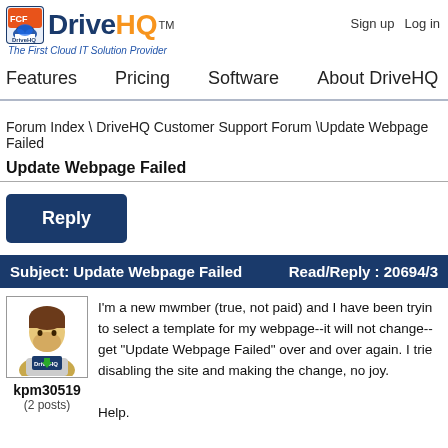[Figure (logo): DriveHQ logo with cloud storage icon, blue and orange text, tagline 'The First Cloud IT Solution Provider']
Sign up   Log in
Features   Pricing   Software   About DriveHQ
Forum Index \ DriveHQ Customer Support Forum \Update Webpage Failed
Update Webpage Failed
Reply
Subject: Update Webpage Failed    Read/Reply : 20694/3
[Figure (photo): Avatar of user kpm30519 showing a cartoon person with DriveHQ logo badge]
kpm30519
(2 posts)
I'm a new mwmber (true, not paid) and I have been tryin to select a template for my webpage--it will not change-- get "Update Webpage Failed" over and over again. I trie disabling the site and making the change, no joy.

Help.